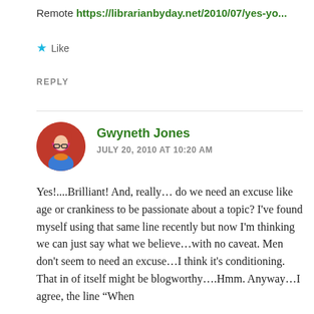Remote https://librarianbyday.net/2010/07/yes-yo...
★ Like
REPLY
Gwyneth Jones
JULY 20, 2010 AT 10:20 AM
Yes!....Brilliant! And, really… do we need an excuse like age or crankiness to be passionate about a topic? I've found myself using that same line recently but now I'm thinking we can just say what we believe…with no caveat. Men don't seem to need an excuse…I think it's conditioning. That in of itself might be blogworthy….Hmm. Anyway…I agree, the line “When